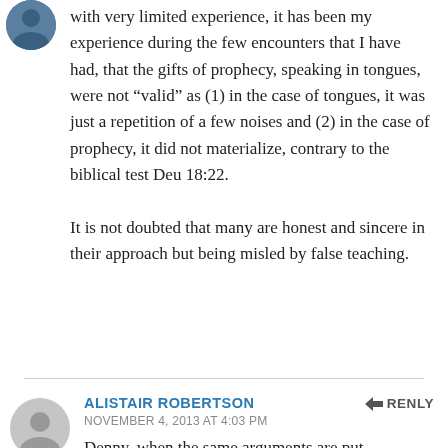with very limited experience, it has been my experience during the few encounters that I have had, that the gifts of prophecy, speaking in tongues, were not “valid” as (1) in the case of tongues, it was just a repetition of a few noises and (2) in the case of prophecy, it did not materialize, contrary to the biblical test Deu 18:22.
It is not doubted that many are honest and sincere in their approach but being misled by false teaching.
ALISTAIR ROBERTSON
NOVEMBER 4, 2013 AT 4:03 PM
Denny, when the same arguments are put